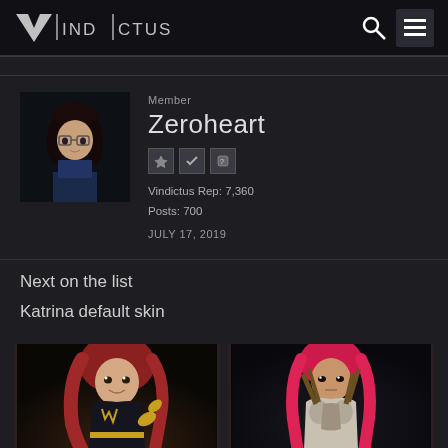VINDICTUS
Member
Zeroheart
Vindictus Rep: 7,360
Posts: 700
JULY 17, 2019
Next on the list
Katrina default skin
[Figure (photo): Two game character images of Katrina, showing her default skin — one in a dark outfit on the left and one in light armor on the right, both with red hair.]